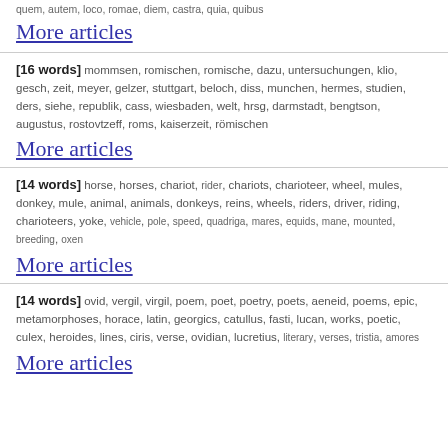quem, autem, loco, romae, diem, castra, quia, quibus
More articles
[16 words] mommsen, romischen, romische, dazu, untersuchungen, klio, gesch, zeit, meyer, gelzer, stuttgart, beloch, diss, munchen, hermes, studien, ders, siehe, republik, cass, wiesbaden, welt, hrsg, darmstadt, bengtson, augustus, rostovtzeff, roms, kaiserzeit, römischen
More articles
[14 words] horse, horses, chariot, rider, chariots, charioteer, wheel, mules, donkey, mule, animal, animals, donkeys, reins, wheels, riders, driver, riding, charioteers, yoke, vehicle, pole, speed, quadriga, mares, equids, mane, mounted, breeding, oxen
More articles
[14 words] ovid, vergil, virgil, poem, poet, poetry, poets, aeneid, poems, epic, metamorphoses, horace, latin, georgics, catullus, fasti, lucan, works, poetic, culex, heroides, lines, ciris, verse, ovidian, lucretius, literary, verses, tristia, amores
More articles